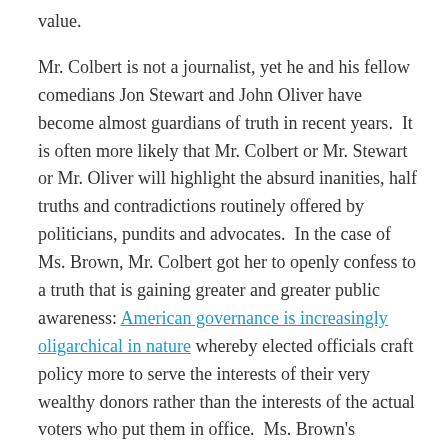value.
Mr. Colbert is not a journalist, yet he and his fellow comedians Jon Stewart and John Oliver have become almost guardians of truth in recent years.  It is often more likely that Mr. Colbert or Mr. Stewart or Mr. Oliver will highlight the absurd inanities, half truths and contradictions routinely offered by politicians, pundits and advocates.  In the case of Ms. Brown, Mr. Colbert got her to openly confess to a truth that is gaining greater and greater public awareness: American governance is increasingly oligarchical in nature whereby elected officials craft policy more to serve the interests of their very wealthy donors rather than the interests of the actual voters who put them in office.  Ms. Brown's undisclosed donor list is a perfect example of this, and her refusal